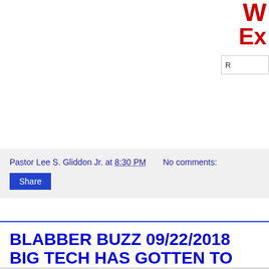W EX
R
Pastor Lee S. Gliddon Jr. at 8:30 PM   No comments:
Share
BLABBER BUZZ 09/22/2018 BIG TECH HAS GOTTEN TO BIG FOR IT'S BRITCHES
Report: White House Drafts Executive Order to Investigate Big Tech